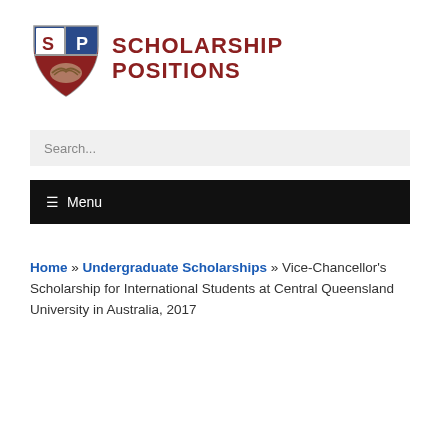[Figure (logo): Scholarship Positions logo: a shield with SP letters and a handshake, followed by bold dark-red text SCHOLARSHIP POSITIONS]
Search...
☰ Menu
Home » Undergraduate Scholarships » Vice-Chancellor's Scholarship for International Students at Central Queensland University in Australia, 2017